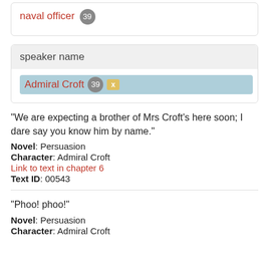naval officer 39
speaker name
Admiral Croft 39 x
"We are expecting a brother of Mrs Croft's here soon; I dare say you know him by name."
Novel: Persuasion
Character: Admiral Croft
Link to text in chapter 6
Text ID: 00543
"Phoo! phoo!"
Novel: Persuasion
Character: Admiral Croft